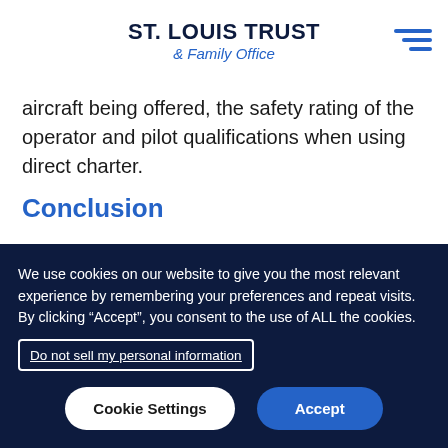ST. LOUIS TRUST & Family Office
aircraft being offered, the safety rating of the operator and pilot qualifications when using direct charter.
Conclusion
We use cookies on our website to give you the most relevant experience by remembering your preferences and repeat visits. By clicking “Accept”, you consent to the use of ALL the cookies.
Do not sell my personal information
Cookie Settings
Accept